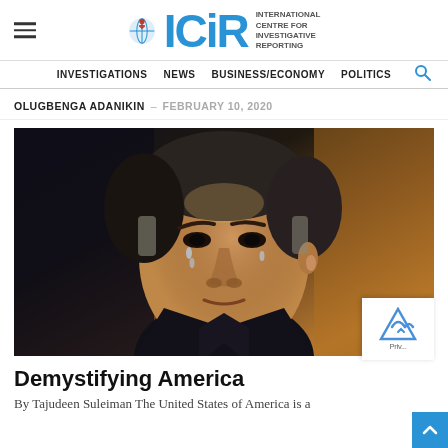ICIR — International Centre for Investigative Reporting
INVESTIGATIONS  NEWS  BUSINESS/ECONOMY  POLITICS
OLUGBENGA ADANIKIN — FEBRUARY 10, 2020
[Figure (photo): Close-up photo of a man (appearing to cry) in a suit, with blurred background]
Demystifying America
By Tajudeen Suleiman The United States of America is a